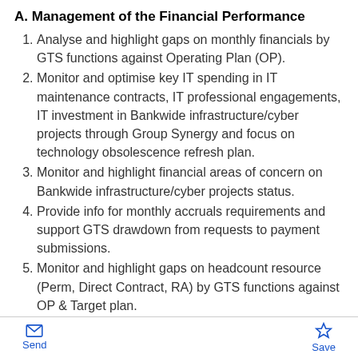A. Management of the Financial Performance
Analyse and highlight gaps on monthly financials by GTS functions against Operating Plan (OP).
Monitor and optimise key IT spending in IT maintenance contracts, IT professional engagements, IT investment in Bankwide infrastructure/cyber projects through Group Synergy and focus on technology obsolescence refresh plan.
Monitor and highlight financial areas of concern on Bankwide infrastructure/cyber projects status.
Provide info for monthly accruals requirements and support GTS drawdown from requests to payment submissions.
Monitor and highlight gaps on headcount resource (Perm, Direct Contract, RA) by GTS functions against OP & Target plan.
Send  Save